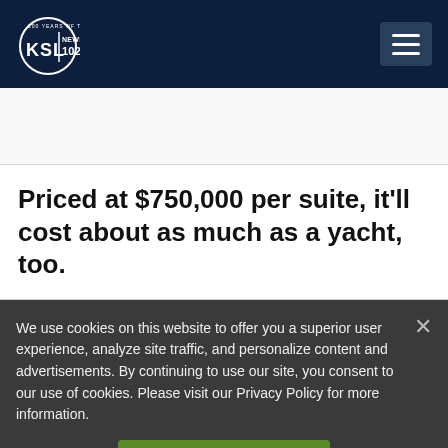[Figure (logo): KSL NewsRadio 102.7FM logo — circular logo with KSL text and '100 Years of Trust' banner, white on dark navy background]
Priced at $750,000 per suite, it'll cost about as much as a yacht, too.
We use cookies on this website to offer you a superior user experience, analyze site traffic, and personalize content and advertisements. By continuing to use our site, you consent to our use of cookies. Please visit our Privacy Policy for more information.